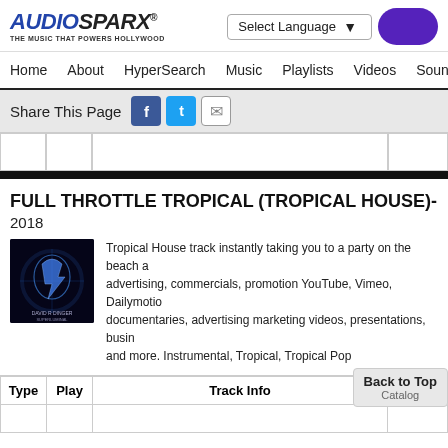AUDIOSPARX - THE MUSIC THAT POWERS HOLLYWOOD | Select Language
Home  About  HyperSearch  Music  Playlists  Videos  Sound
Share This Page
[Figure (screenshot): Toolbar with cells and black bar]
FULL THROTTLE TROPICAL (TROPICAL HOUSE) - (by
2018
[Figure (photo): Album art: David R Dinger - dark blue sci-fi themed cover]
Tropical House track instantly taking you to a party on the beach a... advertising, commercials, promotion YouTube, Vimeo, Dailymotio... documentaries, advertising marketing videos, presentations, busin... and more. Instrumental, Tropical, Tropical Pop
| Type | Play | Track Info | Catalog ID |
| --- | --- | --- | --- |
|  |  |  | ID |